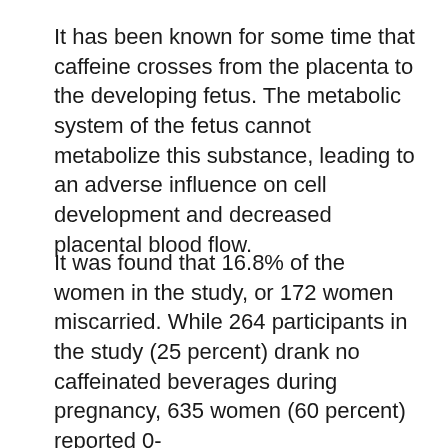It has been known for some time that caffeine crosses from the placenta to the developing fetus. The metabolic system of the fetus cannot metabolize this substance, leading to an adverse influence on cell development and decreased placental blood flow.
It was found that 16.8% of the women in the study, or 172 women miscarried. While 264 participants in the study (25 percent) drank no caffeinated beverages during pregnancy, 635 women (60 percent) reported 0-